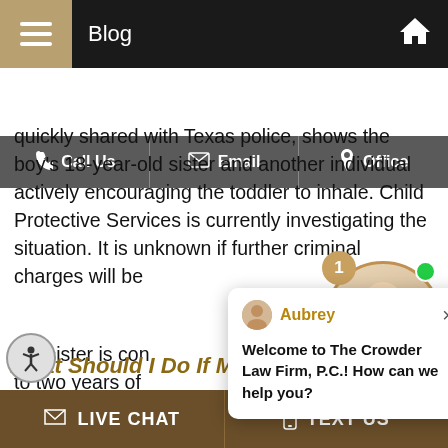Blog
Call Us   Email   Office
quickly shared with Texas police, shows the boy's 18-year-old sister and another individual actively encouraging the toddler to inhale. Child Protective Services is currently investigating the situation. It is unknown if further criminal charges will be ... the sister is con... to two years of...
...
Continue Reading...
[Figure (screenshot): Chat popup with avatar icon, name 'Aubrey', close X button, and message 'Welcome to The Crowder Law Firm, P.C.! How can we help you?']
[Figure (photo): Online agent photo circle with notification badge showing '1' and green online dot, with 'Online Agent' label]
What Should I Do If My Ex Falsely
LIVE CHAT   TEXT US